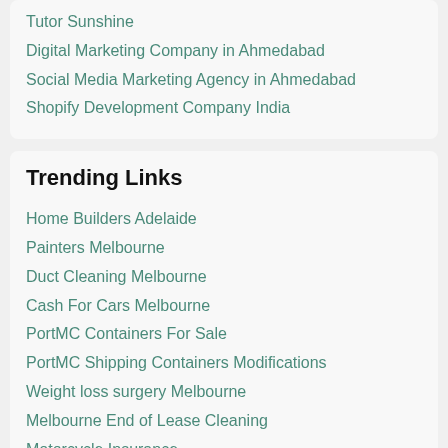Tutor Sunshine
Digital Marketing Company in Ahmedabad
Social Media Marketing Agency in Ahmedabad
Shopify Development Company India
Trending Links
Home Builders Adelaide
Painters Melbourne
Duct Cleaning Melbourne
Cash For Cars Melbourne
PortMC Containers For Sale
PortMC Shipping Containers Modifications
Weight loss surgery Melbourne
Melbourne End of Lease Cleaning
Motorcycle Insurance
Comprehensive Car Insurance
Roof Restoration Melbourne
Local SEO Melbourne
Landscaping Melbourne
Best Landscape Designers Melbourne
Melbourne Landscape Architects
Commercial Landscape Contractors Melbourne
Restaurants Melbourne